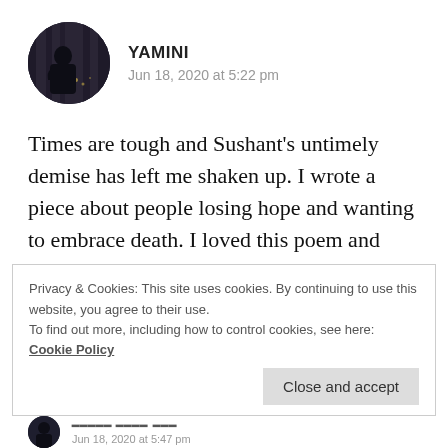[Figure (photo): Circular avatar photo showing a silhouette of a person against a window with lights in the background, dark tones]
YAMINI
Jun 18, 2020 at 5:22 pm
Times are tough and Sushant’s untimely demise has left me shaken up. I wrote a piece about people losing hope and wanting to embrace death. I loved this poem and “Broken and undone, The unlucky one.” moved me.
★ Liked by 1 person
Privacy & Cookies: This site uses cookies. By continuing to use this website, you agree to their use.
To find out more, including how to control cookies, see here: Cookie Policy
Close and accept